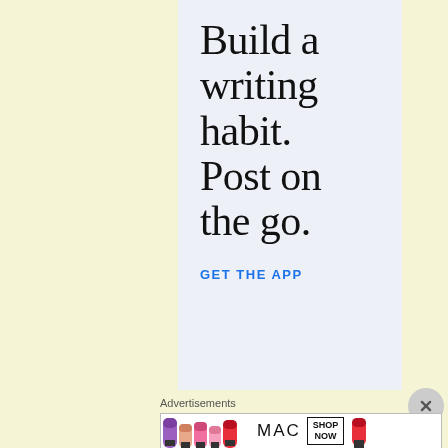Build a writing habit. Post on the go.
GET THE APP
[Figure (other): Close/dismiss button (X circle) for the ad overlay]
Advertisements
[Figure (other): MAC cosmetics advertisement banner showing colourful lipsticks, MAC logo, and a SHOP NOW button]